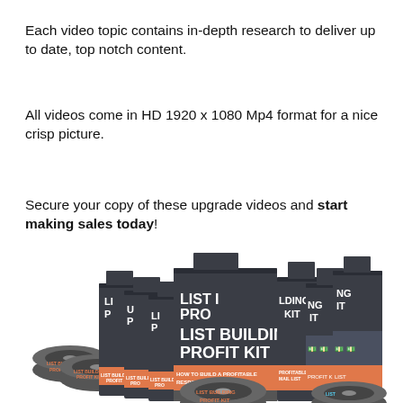Each video topic contains in-depth research to deliver up to date, top notch content.
All videos come in HD 1920 x 1080 Mp4 format for a nice crisp picture.
Secure your copy of these upgrade videos and start making sales today!
[Figure (illustration): Product box set showing multiple 'List Building Profit Kit' video course boxes and DVDs arranged in a group display]